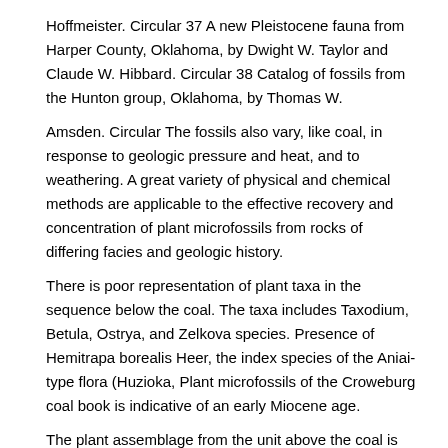Hoffmeister. Circular 37 A new Pleistocene fauna from Harper County, Oklahoma, by Dwight W. Taylor and Claude W. Hibbard. Circular 38 Catalog of fossils from the Hunton group, Oklahoma, by Thomas W.
Amsden. Circular The fossils also vary, like coal, in response to geologic pressure and heat, and to weathering. A great variety of physical and chemical methods are applicable to the effective recovery and concentration of plant microfossils from rocks of differing facies and geologic history.
There is poor representation of plant taxa in the sequence below the coal. The taxa includes Taxodium, Betula, Ostrya, and Zelkova species. Presence of Hemitrapa borealis Heer, the index species of the Aniai-type flora (Huzioka, Plant microfossils of the Croweburg coal book is indicative of an early Miocene age.
The plant assemblage from the unit above the coal is more abundant. County Croweburg coal. microfossils. from Illinois. Illinois. Geo-logical. The arborescent lycopods dominated many coal-swamp plant communities of the Middle Pennsylvanian.